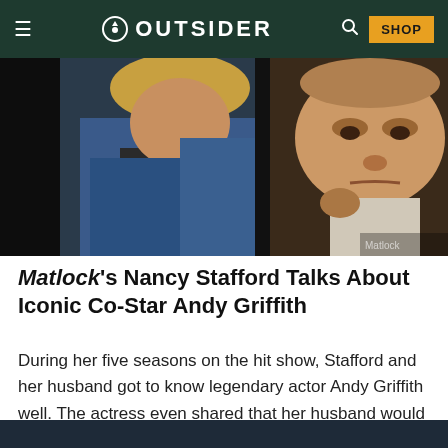OUTSIDER  SHOP
[Figure (photo): Two people in a TV scene — a woman with blonde hair in a blue jacket and an older man with a serious expression, from the TV show Matlock]
Matlock's Nancy Stafford Talks About Iconic Co-Star Andy Griffith
During her five seasons on the hit show, Stafford and her husband got to know legendary actor Andy Griffith well. The actress even shared that her husband would come to